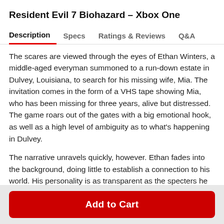Resident Evil 7 Biohazard – Xbox One
Description | Specs | Ratings & Reviews | Q&A
The scares are viewed through the eyes of Ethan Winters, a middle-aged everyman summoned to a run-down estate in Dulvey, Louisiana, to search for his missing wife, Mia. The invitation comes in the form of a VHS tape showing Mia, who has been missing for three years, alive but distressed. The game roars out of the gates with a big emotional hook, as well as a high level of ambiguity as to what's happening in Dulvey.
The narrative unravels quickly, however. Ethan fades into the background, doing little to establish a connection to his world. His personality is as transparent as the specters he encounters, and he somehow remains mostly silent in
Add to Cart